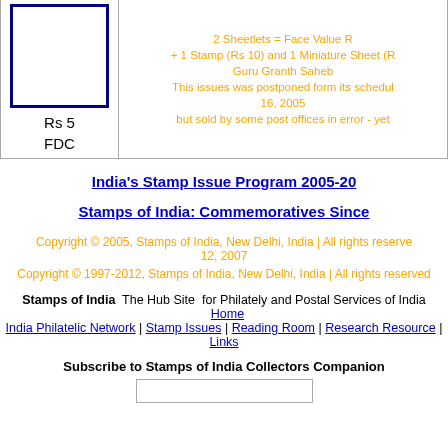[Figure (illustration): Stamp placeholder box with blue border, labeled Rs 5 FDC]
2 Sheetlets = Face Value R + 1 Stamp (Rs 10) and 1 Miniature Sheet (R Guru Granth Saheb This issues was postponed form its schedul 16, 2005 but sold by some post offices in error - yet
India's Stamp Issue Program 2005-20
Stamps of India: Commemoratives Since
Copyright © 2005, Stamps of India, New Delhi, India | All rights reserve 12, 2007
Copyright © 1997-2012, Stamps of India, New Delhi, India | All rights reserved
Stamps of India  The Hub Site for Philately and Postal Services of India  Home
India Philatelic Network | Stamp Issues | Reading Room | Research Resource | Links
Subscribe to Stamps of India Collectors Companion